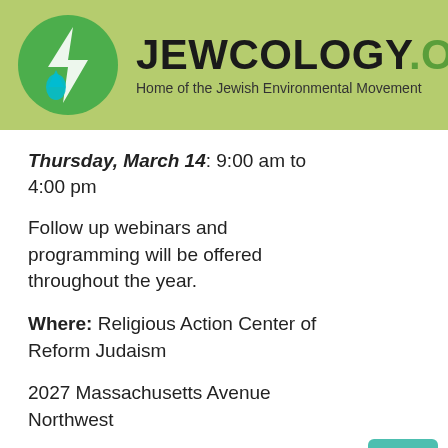[Figure (logo): Jewcology.org logo with green circle containing a lightning bolt and water drop icon, followed by the text JEWCOLOGY.ORG and subtitle Home of the Jewish Environmental Movement on a light green background]
Thursday, March 14: 9:00 am to 4:00 pm
Follow up webinars and programming will be offered throughout the year.
Where: Religious Action Center of Reform Judaism
2027 Massachusetts Avenue Northwest
Washington, DC 20036